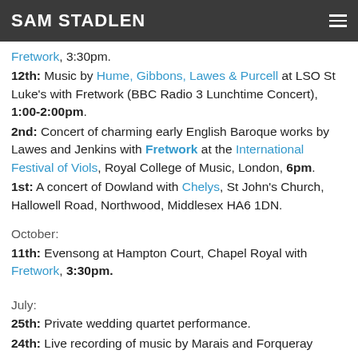SAM STADLEN
Fretwork, 3:30pm.
12th: Music by Hume, Gibbons, Lawes & Purcell at LSO St Luke's with Fretwork (BBC Radio 3 Lunchtime Concert), 1:00-2:00pm.
2nd: Concert of charming early English Baroque works by Lawes and Jenkins with Fretwork at the International Festival of Viols, Royal College of Music, London, 6pm.
1st: A concert of Dowland with Chelys, St John's Church, Hallowell Road, Northwood, Middlesex HA6 1DN.
October:
11th: Evensong at Hampton Court, Chapel Royal with Fretwork, 3:30pm.
July:
25th: Private wedding quartet performance.
24th: Live recording of music by Marais and Forqueray